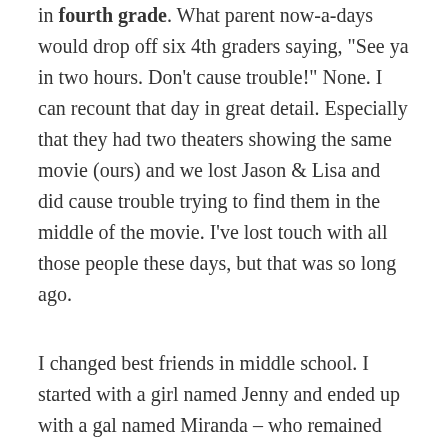in fourth grade. What parent now-a-days would drop off six 4th graders saying, "See ya in two hours. Don't cause trouble!" None. I can recount that day in great detail. Especially that they had two theaters showing the same movie (ours) and we lost Jason & Lisa and did cause trouble trying to find them in the middle of the movie. I've lost touch with all those people these days, but that was so long ago.
I changed best friends in middle school. I started with a girl named Jenny and ended up with a gal named Miranda – who remained one of my besties until 2001 when a large fight split us up. There won't be any details of that here. I will say that Miranda and I were "those" best friends. We dressed alike – not always matching (but yes